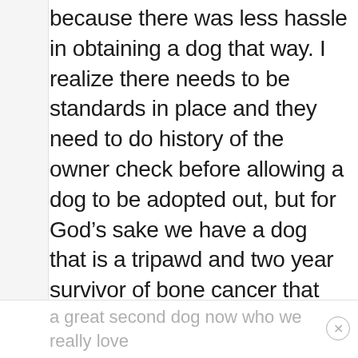because there was less hassle in obtaining a dog that way. I realize there needs to be standards in place and they need to do history of the owner check before allowing a dog to be adopted out, but for God’s sake we have a dog that is a tripawd and two year survivor of bone cancer that we have had since she was a puppy. If we can’t adopt a dog, then who can? Rescues, you need to make it a tad bit easier or at least quicker for someone to get a dog because we really wanted to rescue one but just got tired of waiting. I’m glad our breeder trusted us because we have
a great second dog now who we really love